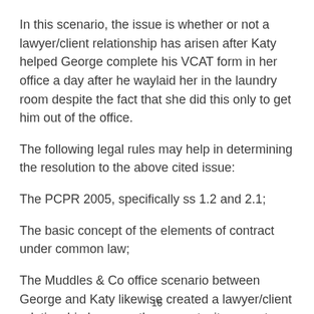In this scenario, the issue is whether or not a lawyer/client relationship has arisen after Katy helped George complete his VCAT form in her office a day after he waylaid her in the laundry room despite the fact that she did this only to get him out of the office.
The following legal rules may help in determining the resolution to the above cited issue:
The PCPR 2005, specifically ss 1.2 and 2.1;
The basic concept of the elements of contract under common law;
The Muddles & Co office scenario between George and Katy likewise created a lawyer/client relationship because there was tacit consent on the part of Katy to render legal
16